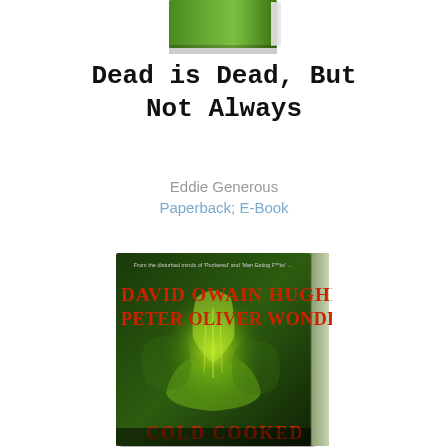[Figure (photo): Top portion of a book cover with green spine visible at top of page]
Dead is Dead, But Not Always
Eddie Generous
Paperback; E-Book
[Figure (photo): Book cover showing 'Dead is Dead, But Not Always' by David Owain Hughes and Peter Oliver Wonder. Dark green background with glowing green supernatural figure. Text reads 'From the disturbed minds of Puckered and Man Eating F**ks...' at top. Authors names in red decorative font. Bottom text partially visible: COLD COOKED]